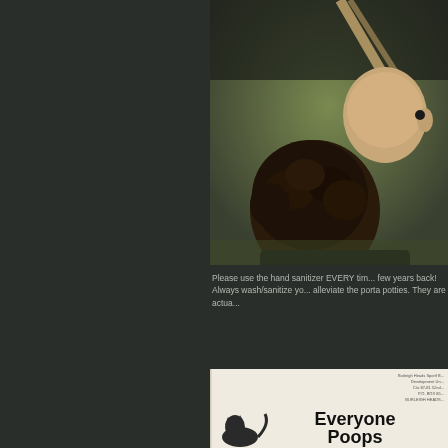[Figure (photo): Outdoor photo showing two people from behind, one with a shaved head and one with curly dark hair, sitting on grass with a wooden structure visible]
Please use the hand sanitizer EVERY tim... few years back! Always wash/sanitize yo... alleviate the porta potties. They are actua...
[Figure (photo): Photo of the children's book 'Everyone Poops' with small animal illustration and publisher address at top right]